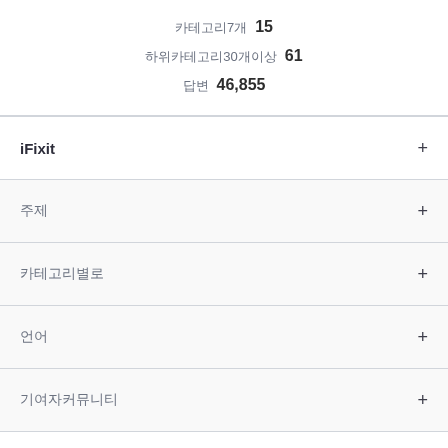카테고리7개  15
하위카테고리30개이상  61
답변  46,855
iFixit
주제
카테고리별로
언어
기여자커뮤니티